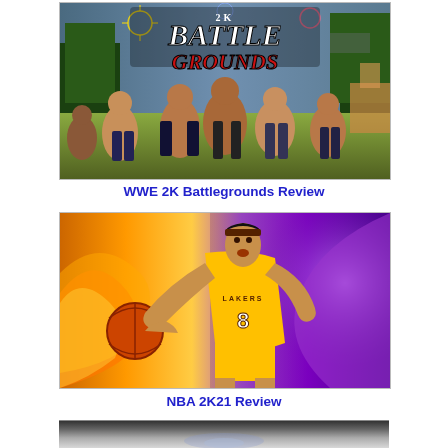[Figure (photo): WWE 2K Battlegrounds game promotional image showing wrestlers fighting outdoors with game title overlaid]
WWE 2K Battlegrounds Review
[Figure (illustration): NBA 2K21 game promotional image showing a stylized painting of a Lakers player (number 8) dribbling a basketball with orange and purple background]
NBA 2K21 Review
[Figure (photo): Partially visible third game promotional image at bottom of page]